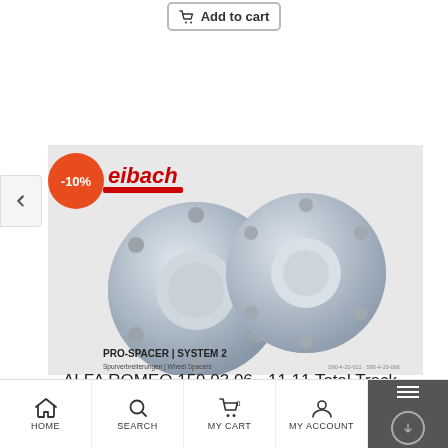[Figure (other): Add to cart button at the top of the page]
[Figure (photo): Eibach Pro-Spacer System 2 wheel spacers product photo showing two aluminum wheel spacers. Includes Eibach logo, -10% discount badge, and text PRO-SPACER | SYSTEM 2, Spurverbreiterungen | Wheel Spacers]
ALFA ROMEO 159 03.06 - 11.11 Total Track Widening (Mm):40 System: 2
HOME  SEARCH  MY CART 0  MY ACCOUNT